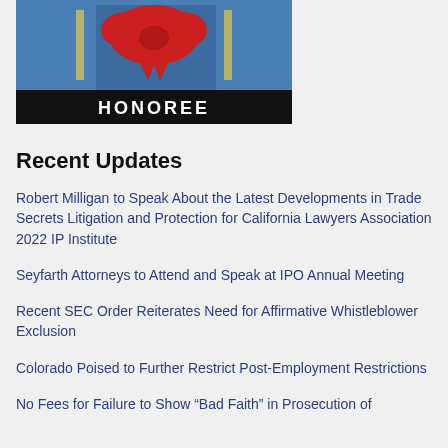[Figure (illustration): Award honoree banner image with a black bar at the bottom displaying 'HONOREE' in white bold text on a dark background, with decorative ribbon/award imagery above on a blue background]
Recent Updates
Robert Milligan to Speak About the Latest Developments in Trade Secrets Litigation and Protection for California Lawyers Association 2022 IP Institute
Seyfarth Attorneys to Attend and Speak at IPO Annual Meeting
Recent SEC Order Reiterates Need for Affirmative Whistleblower Exclusion
Colorado Poised to Further Restrict Post-Employment Restrictions
No Fees for Failure to Show “Bad Faith” in Prosecution of